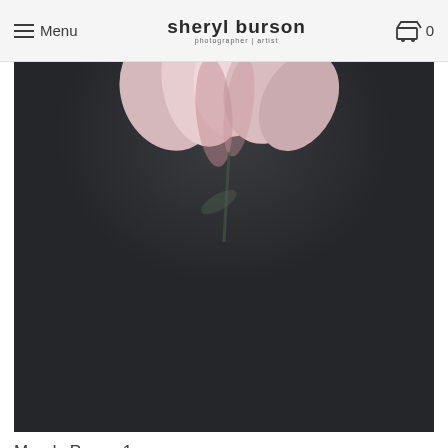Menu | sheryl burson photographer | artist | 0
[Figure (photo): Moody dark background photo of a pink and white peony flower, partially visible at the top of the frame against a dark charcoal background.]
Moody Peony 1.
from $170.00
[Figure (photo): Second moody dark background photo of pink peony flowers, visible at the bottom of the frame against a dark charcoal/olive background, partially cut off.]